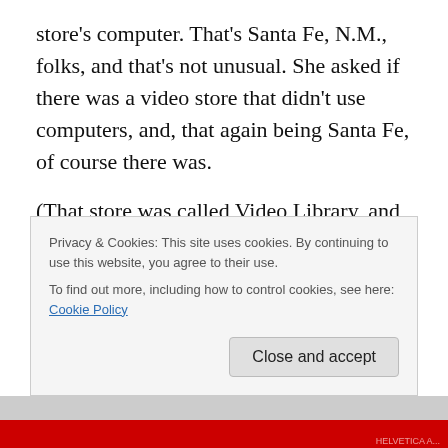store's computer. That's Santa Fe, N.M., folks, and that's not unusual. She asked if there was a video store that didn't use computers, and, that again being Santa Fe, of course there was.
(That store was called Video Library, and Hastings reportedly opened a second store in SF with the express purpose of running them out of business. Didn't work; they're still renting VHS tapes and DVDs and still keeping track of them on file cards filled out with pencil. The locally owned bookstore, Collected Works, also has out-lasted
Privacy & Cookies: This site uses cookies. By continuing to use this website, you agree to their use.
To find out more, including how to control cookies, see here: Cookie Policy
Close and accept